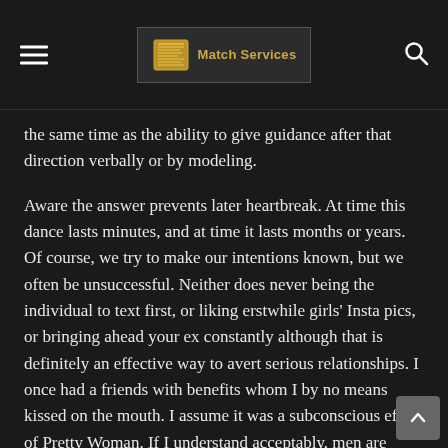Match Services
the same time as the ability to give guidance after that direction verbally or by modeling.
Aware the answer prevents later heartbreak. At time this dance lasts minutes, and at time it lasts months or years. Of course, we try to make our intentions known, but we often be unsuccessful. Neither does never being the individual to text first, or liking erstwhile girls' Insta pics, or bringing ahead your ex constantly although that is definitely an effective way to avert serious relationships. I once had a friends with benefits whom I by no means kissed on the mouth. I assume it was a subconscious effect of Pretty Woman. If I understand acceptably, men are terrified of women body upset with them. Contrary to accepted male